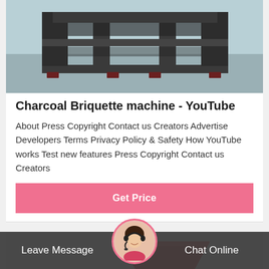[Figure (photo): Photo of a dark grey steel frame / charcoal briquette machine structure on a concrete floor]
Charcoal Briquette machine - YouTube
About Press Copyright Contact us Creators Advertise Developers Terms Privacy & Safety How YouTube works Test new features Press Copyright Contact us Creators
Get Price
[Figure (photo): Photo of a red charcoal briquette machine with hopper on top]
Leave Message
Chat Online